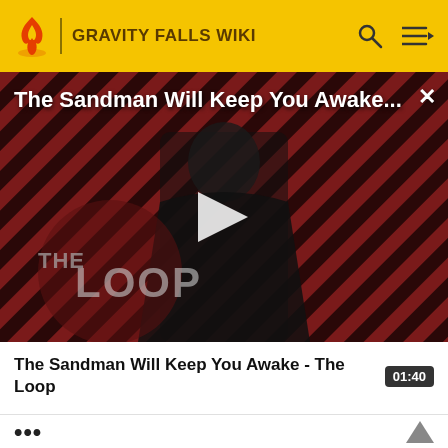GRAVITY FALLS WIKI
[Figure (screenshot): Video thumbnail for 'The Sandman Will Keep You Awake - The Loop' showing a dark-cloaked figure against a red striped background with THE LOOP watermark and a play button overlay. Duration shown as 01:40.]
The Sandman Will Keep You Awake - The Loop
other kids, run scared when Soos unveils the "Our Fundator" statue of Stan.